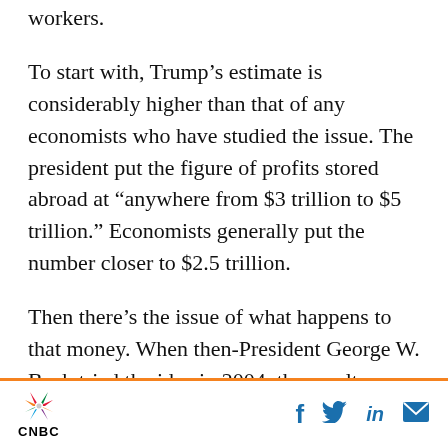workers.
To start with, Trump’s estimate is considerably higher than that of any economists who have studied the issue. The president put the figure of profits stored abroad at “anywhere from $3 trillion to $5 trillion.” Economists generally put the number closer to $2.5 trillion.
Then there’s the issue of what happens to that money. When then-President George W. Bush tried the idea in 2004, the results provided little economic boost.
An effort to spur hiring
CNBC | Facebook | Twitter | LinkedIn | Email